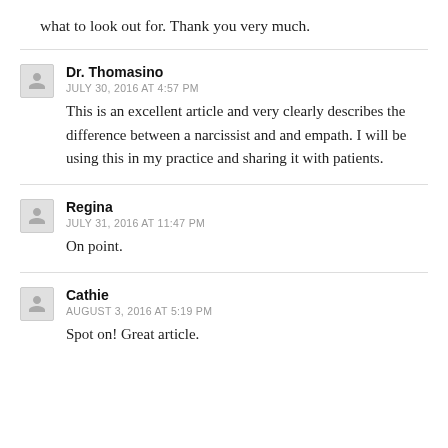what to look out for. Thank you very much.
Dr. Thomasino
JULY 30, 2016 AT 4:57 PM
This is an excellent article and very clearly describes the difference between a narcissist and and empath. I will be using this in my practice and sharing it with patients.
Regina
JULY 31, 2016 AT 11:47 PM
On point.
Cathie
AUGUST 3, 2016 AT 5:19 PM
Spot on! Great article.